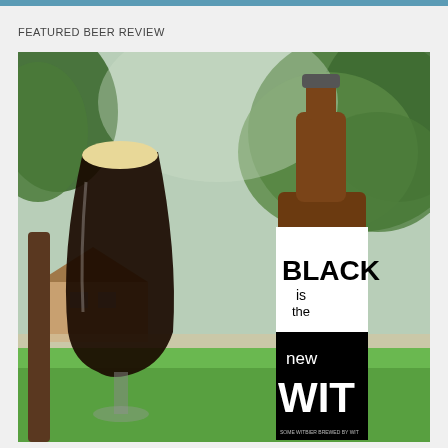FEATURED BEER REVIEW
[Figure (photo): Photo of a dark beer in a goblet glass next to a brown bottle labeled 'BLACK is the new WIT', set outdoors on a green lawn with trees in the background.]